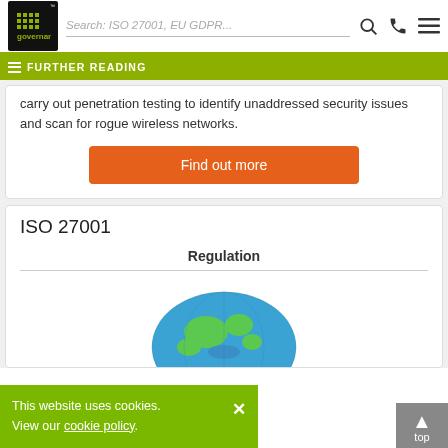Search: ISO 27001, EU GDPR...
FURTHER READING
carry out penetration testing to identify unaddressed security issues and scan for rogue wireless networks.
Find out more
ISO 27001
Regulation
[Figure (illustration): Globe illustration showing world map in blue and green]
This website uses cookies. View our cookie policy.